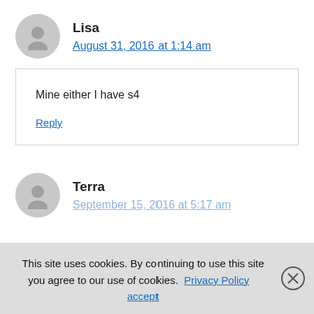Lisa
August 31, 2016 at 1:14 am
Mine either I have s4
Reply
Terra
September 15, 2016 at 5:17 am
This site uses cookies. By continuing to use this site you agree to our use of cookies. Privacy Policy  accept